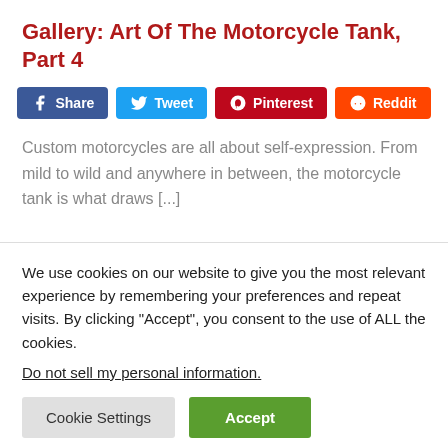Gallery: Art Of The Motorcycle Tank, Part 4
[Figure (infographic): Social sharing buttons: Facebook Share, Twitter Tweet, Pinterest, Reddit]
Custom motorcycles are all about self-expression. From mild to wild and anywhere in between, the motorcycle tank is what draws [...]
We use cookies on our website to give you the most relevant experience by remembering your preferences and repeat visits. By clicking "Accept", you consent to the use of ALL the cookies.
Do not sell my personal information.
Cookie Settings  Accept